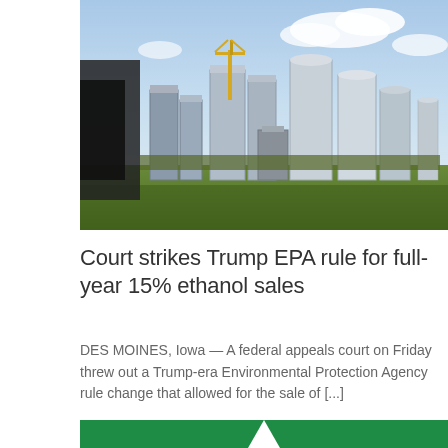[Figure (photo): Industrial grain storage facility with tall silos, cylindrical tanks, and metal structures under a partly cloudy sky, with green grass in the foreground.]
Court strikes Trump EPA rule for full-year 15% ethanol sales
DES MOINES, Iowa — A federal appeals court on Friday threw out a Trump-era Environmental Protection Agency rule change that allowed for the sale of [...]
[Figure (photo): Green background image, partially visible at bottom of page, appears to show a logo or graphic with a white triangular shape.]